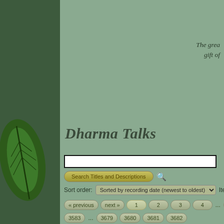The grea gift of
Dharma Talks
[Figure (screenshot): Search input box for Dharma Talks website]
Search Titles and Descriptions
Sort order: Sorted by recording date (newest to oldest)  Items on page:
« previous  next »  1  2  3  4  ...  3575  3576  3577  3583  ...  3679  3680  3681  3682